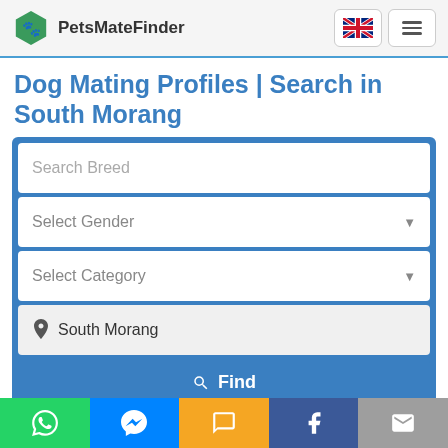PetsMateFinder
Dog Mating Profiles | Search in South Morang
Search Breed
Select Gender
Select Category
South Morang
Find